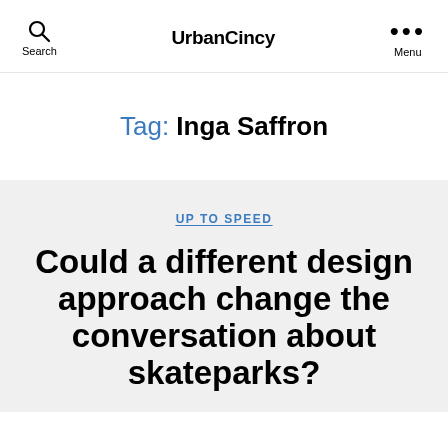UrbanCincy
Tag: Inga Saffron
UP TO SPEED
Could a different design approach change the conversation about skateparks?